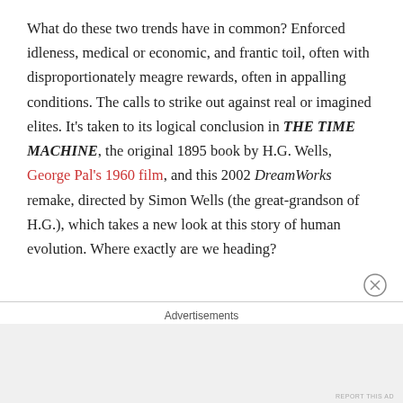What do these two trends have in common? Enforced idleness, medical or economic, and frantic toil, often with disproportionately meagre rewards, often in appalling conditions. The calls to strike out against real or imagined elites. It's taken to its logical conclusion in THE TIME MACHINE, the original 1895 book by H.G. Wells, George Pal's 1960 film, and this 2002 DreamWorks remake, directed by Simon Wells (the great-grandson of H.G.), which takes a new look at this story of human evolution. Where exactly are we heading?
Advertisements